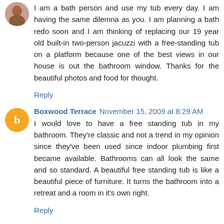[Figure (photo): Small avatar photo of a person in the top left corner of the first comment]
I am a bath person and use my tub every day. I am having the same dilemna as you. I am planning a bath redo soon and I am thinking of replacing our 19 year old built-in two-person jacuzzi with a free-standing tub on a platform because one of the best views in our house is out the bathroom window. Thanks for the beautiful photos and food for thought.
Reply
[Figure (logo): Orange circular Blogger avatar icon with white 'B' letter]
Boxwood Terrace November 15, 2009 at 8:29 AM
I would love to have a free standing tub in my bathroom. They're classic and not a trend in my opinion since they've been used since indoor plumbing first became available. Bathrooms can all look the same and so standard. A beautiful free standing tub is like a beautiful piece of furniture. It turns the bathroom into a retreat and a room in it's own right.
Reply